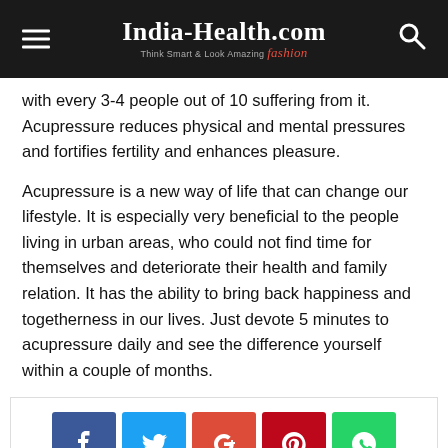India-Health.com — Think Smart & Look Amazing fashion
with every 3-4 people out of 10 suffering from it. Acupressure reduces physical and mental pressures and fortifies fertility and enhances pleasure.
Acupressure is a new way of life that can change our lifestyle. It is especially very beneficial to the people living in urban areas, who could not find time for themselves and deteriorate their health and family relation. It has the ability to bring back happiness and togetherness in our lives. Just devote 5 minutes to acupressure daily and see the difference yourself within a couple of months.
[Figure (other): Social sharing buttons row: Facebook (blue), Twitter (cyan), Google+ (red-orange), Pinterest (dark red), WhatsApp (green)]